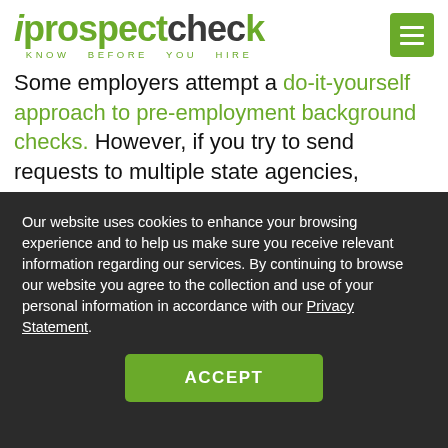iprospectcheck — KNOW BEFORE YOU HIRE
Some employers attempt a do-it-yourself approach to pre-employment background checks. However, if you try to send requests to multiple state agencies, educational institutions, and past employers, this can return incomplete records and take a long period of time.
The best approach to getting background checks in
Our website uses cookies to enhance your browsing experience and to help us make sure you receive relevant information regarding our services. By continuing to browse our website you agree to the collection and use of your personal information in accordance with our Privacy Statement.
ACCEPT